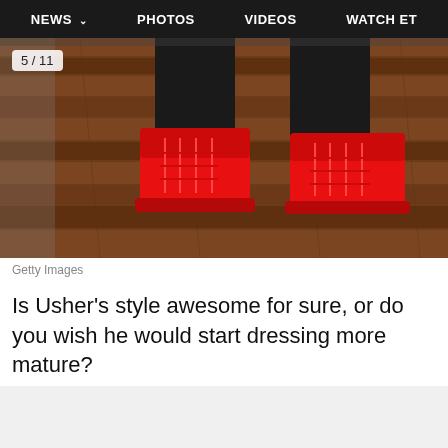NEWS  PHOTOS  VIDEOS  WATCH ET
[Figure (photo): Close-up of a person wearing bright red high-top sneakers standing on a wood floor]
Getty Images
Is Usher's style awesome for sure, or do you wish he would start dressing more mature?